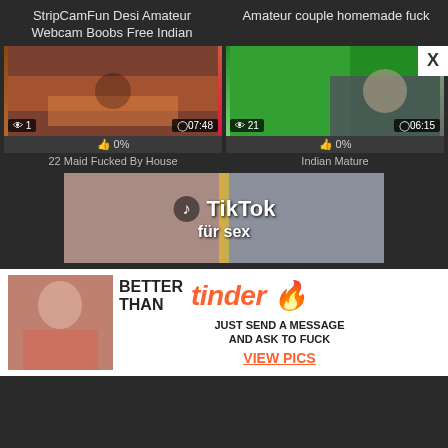StripCamFun Desi Amateur Webcam Boobs Free Indian
Amateur couple homemade fuck
[Figure (screenshot): Video thumbnail showing adult content with view count badge '1' and duration '07:48', below shows '0%' rating and title '22 Maid Fucked By House']
[Figure (screenshot): Video thumbnail showing adult content with view count badge '21' and duration '06:15', below shows '0%' rating and title 'Indian Mature']
[Figure (advertisement): TikTok für sex banner advertisement showing two women]
[Figure (advertisement): Tinder-style dating ad with text 'BETTER THAN tinder JUST SEND A MESSAGE AND ASK TO FUCK VIEW PICS']